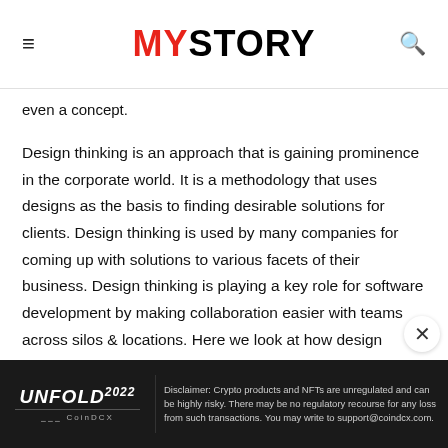MYSTORY
even a concept.
Design thinking is an approach that is gaining prominence in the corporate world. It is a methodology that uses designs as the basis to finding desirable solutions for clients. Design thinking is used by many companies for coming up with solutions to various facets of their business. Design thinking is playing a key role for software development by making collaboration easier with teams across silos & locations. Here we look at how design thinking is transforming software development:
[Figure (other): Advertisement banner for UNFOLD 2022 by CoinDCX with disclaimer text about crypto products and NFTs]